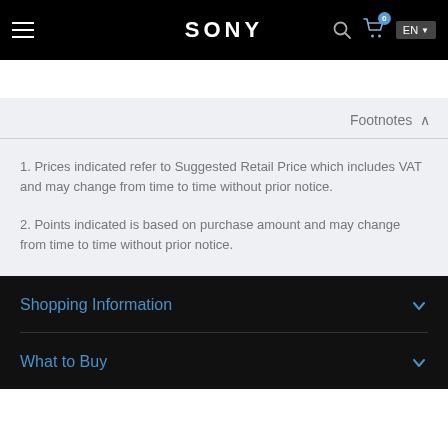SONY
Footnotes
1. Prices indicated refer to Suggested Retail Price which includes VAT and may change from time to time without prior notice.
2. Points indicated is based on purchase amount and may change from time to time without prior notice.
Shopping Information
What to Buy